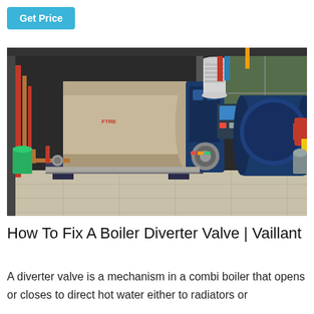Get Price
[Figure (photo): Industrial boiler room with two large cylindrical boilers — a tan/beige horizontal boiler with a blue front panel and a smaller red/blue boiler — connected by red and copper pipes, situated on a light-colored concrete floor inside a warehouse.]
How To Fix A Boiler Diverter Valve | Vaillant
A diverter valve is a mechanism in a combi boiler that opens or closes to direct hot water either to radiators or